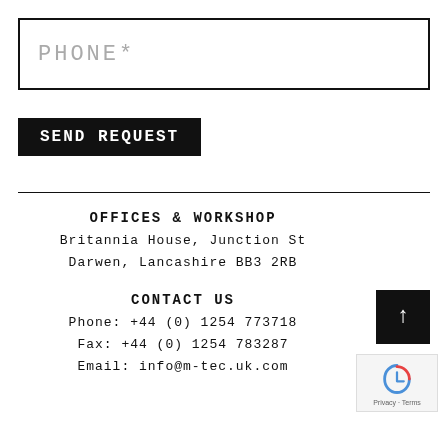PHONE*
SEND REQUEST
OFFICES & WORKSHOP
Britannia House, Junction St
Darwen, Lancashire BB3 2RB
CONTACT US
Phone: +44 (0) 1254 773718
Fax: +44 (0) 1254 783287
Email: info@m-tec.uk.com